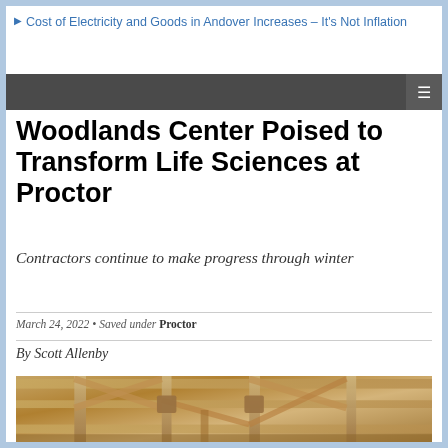Cost of Electricity and Goods in Andover Increases – It's Not Inflation
Woodlands Center Poised to Transform Life Sciences at Proctor
Contractors continue to make progress through winter
March 24, 2022 • Saved under Proctor
By Scott Allenby
[Figure (photo): Interior view of a wooden timber frame structure under construction, showing exposed beams and joinery from below]